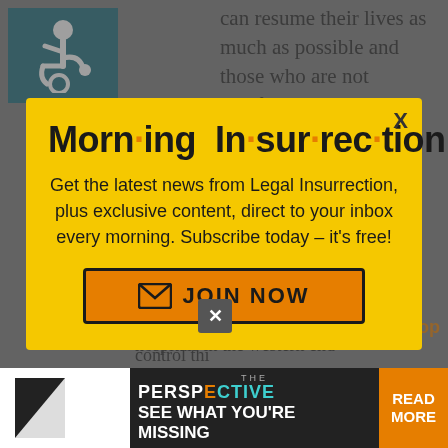can resume their lives as much as possible and those who are not comfortable can remain home. Lowes
[Figure (logo): Wheelchair accessibility icon on teal/dark green background]
Morn·ing In·sur·rec·tion
Get the latest news from Legal Insurrection, plus exclusive content, direct to your inbox every morning. Subscribe today – it's free!
[Figure (infographic): JOIN NOW button with envelope icon, orange background with dark border]
syste will collapse and be under some control thi
hospitals in the western end
[Figure (infographic): Advertisement banner: THE PERSPECTIVE - SEE WHAT YOU'RE MISSING - READ MORE]